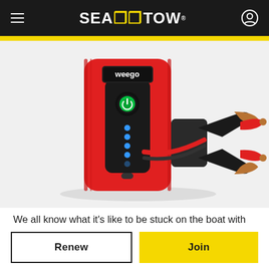Sea Tow navigation header with hamburger menu, Sea Tow logo, and user icon
[Figure (photo): Red Weego portable jump starter battery pack with black clamps and cables on a white background]
We all know what it's like to be stuck on the boat with a dead battery. A day that may have been planned as
Renew
Join